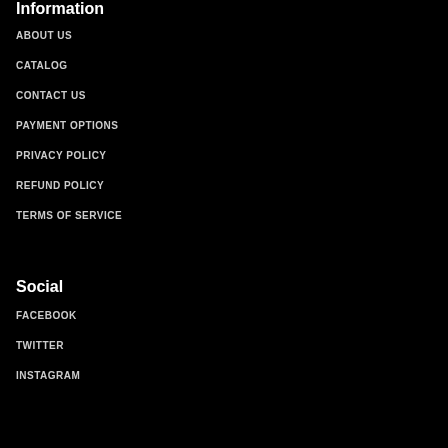Information
ABOUT US
CATALOG
CONTACT US
PAYMENT OPTIONS
PRIVACY POLICY
REFUND POLICY
TERMS OF SERVICE
Social
FACEBOOK
TWITTER
INSTAGRAM